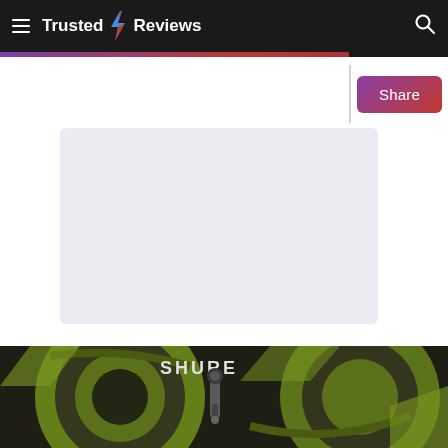Trusted Reviews
[Figure (screenshot): Advertisement placeholder box with light blue-grey background]
[Figure (photo): Close-up photo of Shure audio equipment with green and dark grey design, showing a microphone or audio component]